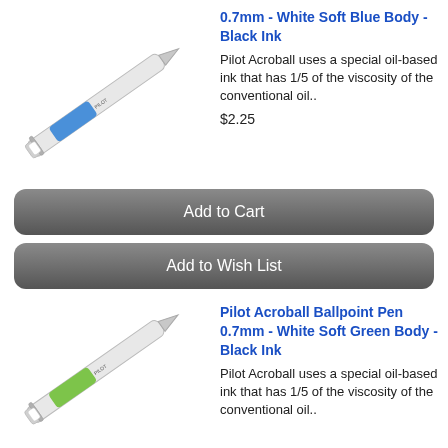0.7mm - White Soft Blue Body - Black Ink
Pilot Acroball uses a special oil-based ink that has 1/5 of the viscosity of the conventional oil..
$2.25
[Figure (photo): Pilot Acroball ballpoint pen with white and blue body, shown diagonally]
Add to Cart
Add to Wish List
Pilot Acroball Ballpoint Pen 0.7mm - White Soft Green Body - Black Ink
Pilot Acroball uses a special oil-based ink that has 1/5 of the viscosity of the conventional oil..
[Figure (photo): Pilot Acroball ballpoint pen with white and green body, shown diagonally]